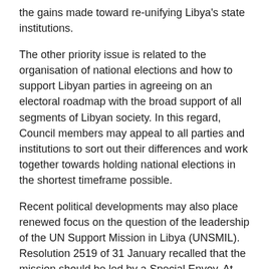the gains made toward re-unifying Libya's state institutions.
The other priority issue is related to the organisation of national elections and how to support Libyan parties in agreeing on an electoral roadmap with the broad support of all segments of Libyan society. In this regard, Council members may appeal to all parties and institutions to sort out their differences and work together towards holding national elections in the shortest timeframe possible.
Recent political developments may also place renewed focus on the question of the leadership of the UN Support Mission in Libya (UNSMIL). Resolution 2519 of 31 January recalled that the mission should be led by a Special Envoy. At the time of writing, the Secretary-General's appointment of the Special Envoy remained pending.